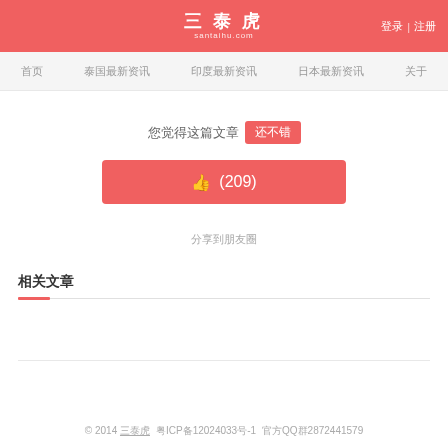三泰虎 santaihu.com 登录 | 注册
三泰虎
santaihu.com
登录 | 注册
首页  泰国最新资讯  印度最新资讯  日本最新资讯  关于
您觉得这篇文章 还不错
👍 (209)
分享到朋友圈
相关文章
© 2014 三泰虎  粤ICP备12024033号-1  官方QQ群2872441579